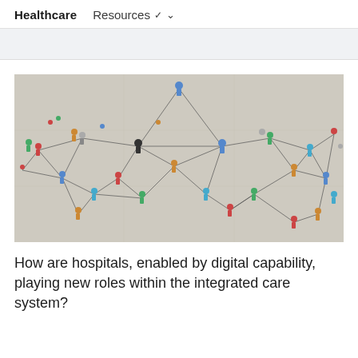Healthcare   Resources
[Figure (photo): Aerial view of people connected by lines forming a network graph, shot from above on a light concrete surface. People are represented as colorful figures and connected by string/rope lines forming triangular network patterns.]
How are hospitals, enabled by digital capability, playing new roles within the integrated care system?